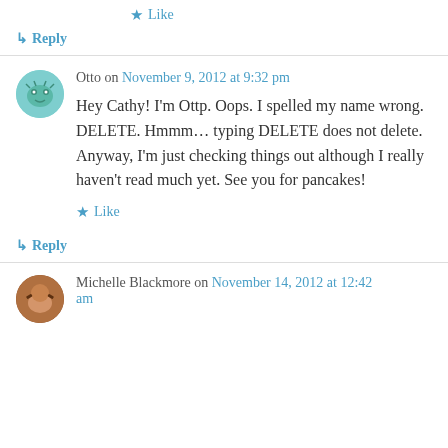★ Like
↳ Reply
Otto on November 9, 2012 at 9:32 pm
Hey Cathy! I'm Ottp. Oops. I spelled my name wrong. DELETE. Hmmm… typing DELETE does not delete. Anyway, I'm just checking things out although I really haven't read much yet. See you for pancakes!
★ Like
↳ Reply
Michelle Blackmore on November 14, 2012 at 12:42 am